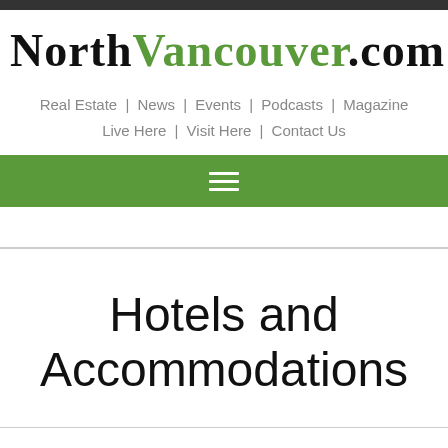NorthVancouver.com
Real Estate | News | Events | Podcasts | Magazine | Live Here | Visit Here | Contact Us
Hotels and Accommodations